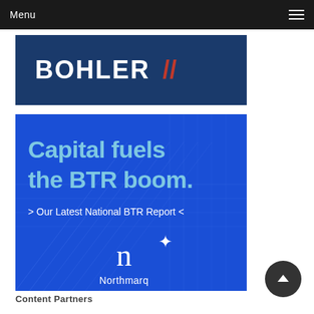Menu
[Figure (logo): BOHLER// logo on dark navy blue background]
[Figure (illustration): Northmarq advertisement on blue background with text: 'Capital fuels the BTR boom.' and '> Our Latest National BTR Report <' and Northmarq logo]
Content Partners